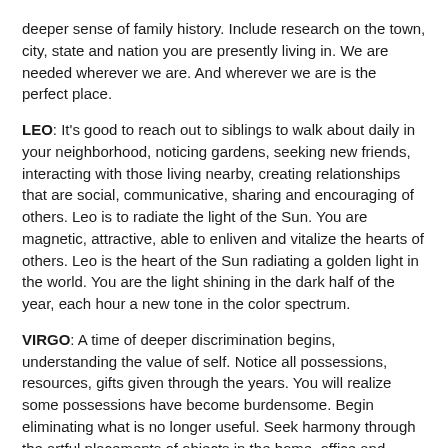deeper sense of family history. Include research on the town, city, state and nation you are presently living in. We are needed wherever we are. And wherever we are is the perfect place.
LEO: It's good to reach out to siblings to walk about daily in your neighborhood, noticing gardens, seeking new friends, interacting with those living nearby, creating relationships that are social, communicative, sharing and encouraging of others. Leo is to radiate the light of the Sun. You are magnetic, attractive, able to enliven and vitalize the hearts of others. Leo is the heart of the Sun radiating a golden light in the world. You are the light shining in the dark half of the year, each hour a new tone in the color spectrum.
VIRGO: A time of deeper discrimination begins, understanding the value of self. Notice all possessions, resources, gifts given through the years. You will realize some possessions have become burdensome. Begin eliminating what is no longer useful. Seek harmony through the artful placements of objects in the home, office and gardens. For the next months, take special care with finances. Invest in gold and silver. You may undervalue or overvalue self and others. Call forth discernment which is Right Seeing and Right Action.
LIBRA: You may become stricter in your thinking, defining for